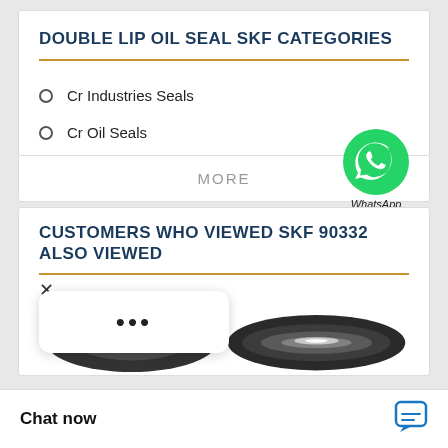DOUBLE LIP OIL SEAL SKF CATEGORIES
Cr Industries Seals
Cr Oil Seals
MORE
[Figure (logo): WhatsApp green phone icon with 'WhatsApp Online' label]
CUSTOMERS WHO VIEWED SKF 90332 ALSO VIEWED
[Figure (other): Close X button and three-dot loading bubble popup, and two oil seal product images at bottom]
Chat now
[Figure (other): Chat icon (speech bubble with lines)]